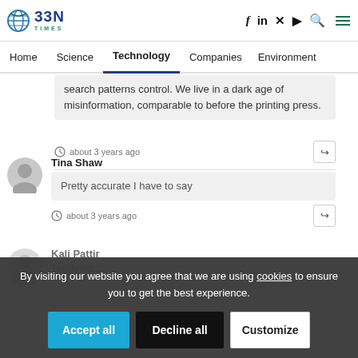BBN Times — Home | Science | Technology | Companies | Environment
search patterns control. We live in a dark age of misinformation, comparable to before the printing press.
about 3 years ago
Tina Shaw
Pretty accurate I have to say
about 3 years ago
Kali Pattir
Terrifying....
By visiting our website you agree that we are using cookies to ensure you to get the best experience.